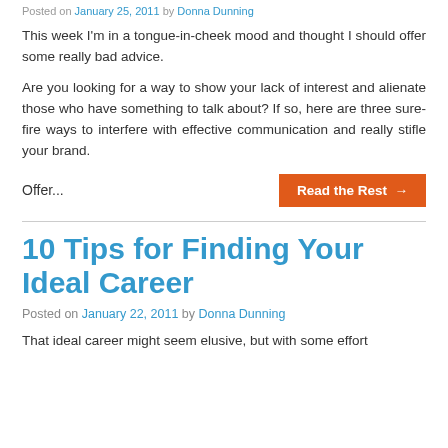Posted on January 25, 2011 by Donna Dunning
This week I'm in a tongue-in-cheek mood and thought I should offer some really bad advice.
Are you looking for a way to show your lack of interest and alienate those who have something to talk about? If so, here are three sure-fire ways to interfere with effective communication and really stifle your brand.
Offer...
Read the Rest →
10 Tips for Finding Your Ideal Career
Posted on January 22, 2011 by Donna Dunning
That ideal career might seem elusive, but with some effort